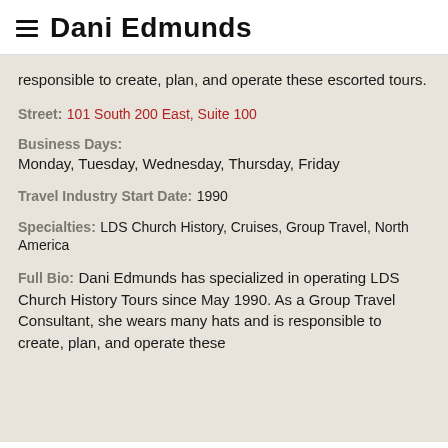Dani Edmunds
responsible to create, plan, and operate these escorted tours.
Street: 101 South 200 East, Suite 100
Business Days:
Monday, Tuesday, Wednesday, Thursday, Friday
Travel Industry Start Date: 1990
Specialties: LDS Church History, Cruises, Group Travel, North America
Full Bio: Dani Edmunds has specialized in operating LDS Church History Tours since May 1990. As a Group Travel Consultant, she wears many hats and is responsible to create, plan, and operate these